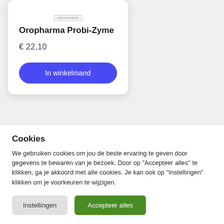[Figure (photo): Product packaging image for Oropharma Probi-Zyme with OROPHARMA label visible at top]
Oropharma Probi-Zyme
€ 22,10
In winkelmand
Cookies
We gebruiken cookies om jou de beste ervaring te geven door gegevens te bewaren van je bezoek. Door op "Accepteer alles" te klikken, ga je akkoord met alle cookies. Je kan ook op "Instellingen" klikken om je voorkeuren te wijzigen.
Instellingen
Accepteer alles